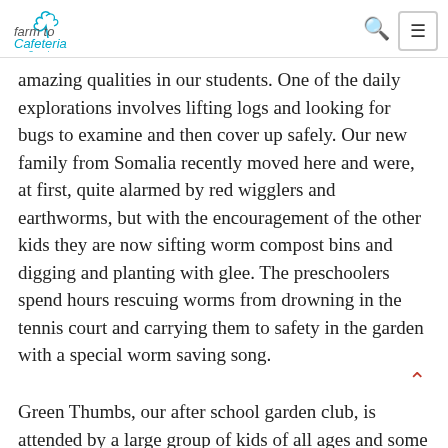farm to Cafeteria Canada
amazing qualities in our students. One of the daily explorations involves lifting logs and looking for bugs to examine and then cover up safely. Our new family from Somalia recently moved here and were, at first, quite alarmed by red wigglers and earthworms, but with the encouragement of the other kids they are now sifting worm compost bins and digging and planting with glee. The preschoolers spend hours rescuing worms from drowning in the tennis court and carrying them to safety in the garden with a special worm saving song.
Green Thumbs, our after school garden club, is attended by a large group of kids of all ages and some